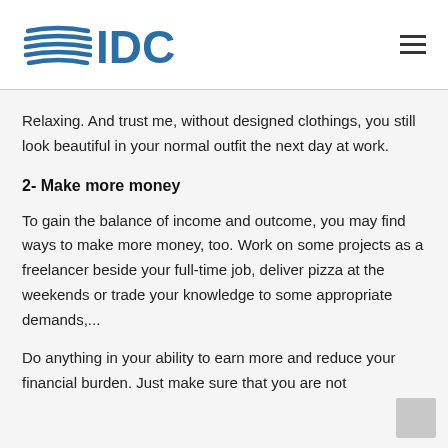IDC
Relaxing. And trust me, without designed clothings, you still look beautiful in your normal outfit the next day at work.
2- Make more money
To gain the balance of income and outcome, you may find ways to make more money, too. Work on some projects as a freelancer beside your full-time job, deliver pizza at the weekends or trade your knowledge to some appropriate demands,...
Do anything in your ability to earn more and reduce your financial burden. Just make sure that you are not